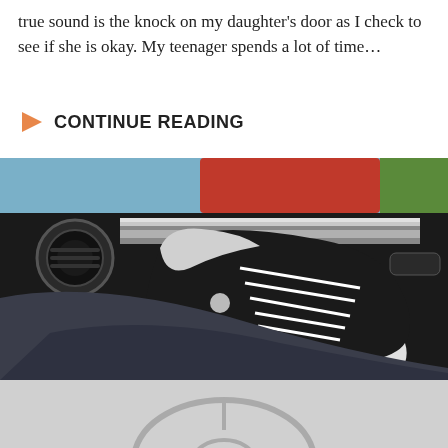true sound is the knock on my daughter's door as I check to see if she is okay. My teenager spends a lot of time…
CONTINUE READING
[Figure (photo): A photo of a person's foot wearing a black Converse sneaker propped up on a car dashboard, with the car interior visible and a red car outside the window.]
[Figure (photo): Bottom portion of a partially visible photo, appears to show a car-related image in gray tones.]